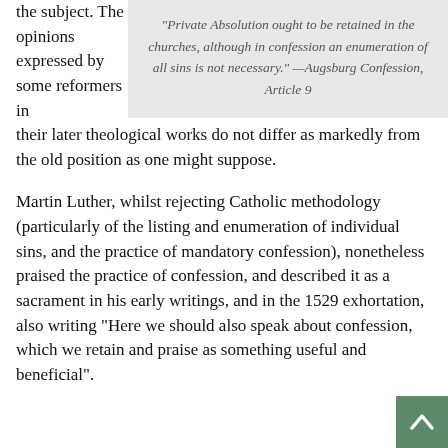the subject. The opinions expressed by some reformers in their later theological works do not differ as markedly from the old position as one might suppose.
[Figure (other): Pull quote box with gray background containing italic text: "Private Absolution ought to be retained in the churches, although in confession an enumeration of all sins is not necessary." —Augsburg Confession, Article 9]
Martin Luther, whilst rejecting Catholic methodology (particularly of the listing and enumeration of individual sins, and the practice of mandatory confession), nonetheless praised the practice of confession, and described it as a sacrament in his early writings, and in the 1529 exhortation, also writing "Here we should also speak about confession, which we retain and praise as something useful and beneficial".